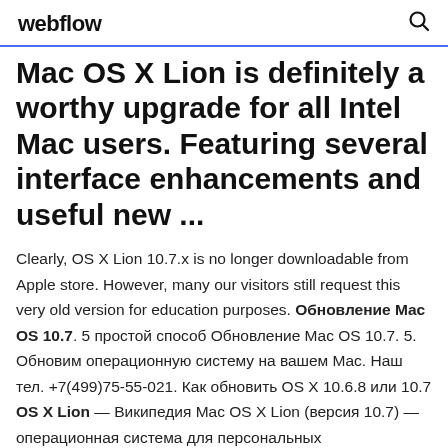webflow
Mac OS X Lion is definitely a worthy upgrade for all Intel Mac users. Featuring several interface enhancements and useful new ...
Clearly, OS X Lion 10.7.x is no longer downloadable from Apple store. However, many our visitors still request this very old version for education purposes. Обновление Mac OS 10.7. 5 простой способ Обновление Mac OS 10.7. 5. Обновим операционную систему на вашем Mac. Наш тел. +7(499)75-55-021. Как обновить OS X 10.6.8 или 10.7 OS X Lion — Википедия Mac OS X Lion (версия 10.7) — операционная система для персональных